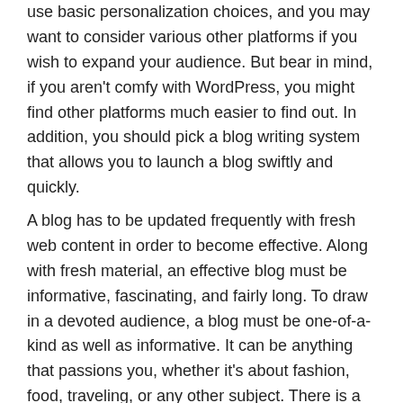use basic personalization choices, and you may want to consider various other platforms if you wish to expand your audience. But bear in mind, if you aren't comfy with WordPress, you might find other platforms much easier to find out. In addition, you should pick a blog writing system that allows you to launch a blog swiftly and quickly.
A blog has to be updated frequently with fresh web content in order to become effective. Along with fresh material, an effective blog must be informative, fascinating, and fairly long. To draw in a devoted audience, a blog must be one-of-a-kind as well as informative. It can be anything that passions you, whether it's about fashion, food, traveling, or any other subject. There is a target market for practically any type of subject, so don't hesitate to discuss it!